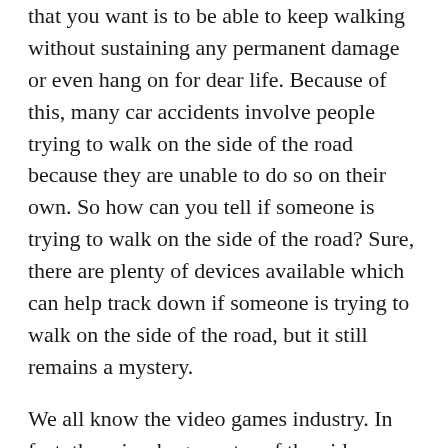that you want is to be able to keep walking without sustaining any permanent damage or even hang on for dear life. Because of this, many car accidents involve people trying to walk on the side of the road because they are unable to do so on their own. So how can you tell if someone is trying to walk on the side of the road? Sure, there are plenty of devices available which can help track down if someone is trying to walk on the side of the road, but it still remains a mystery.
We all know the video games industry. In fact, there is a huge sector of the video game market that was originally developed for those who wanted to play those games but later decided that they didn't want to watch the meal replays. So, instead of purchasing the newest console, you can purchase your favorite package today by using Xbox Live. The next big thing for Xbox Live is user-generated content that will be uploaded by fans. These users will then be able to upload their own videos and share them with the rest of